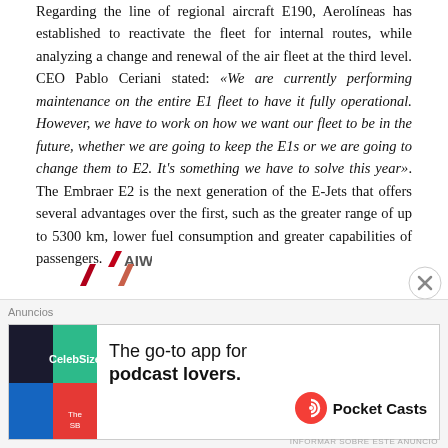Regarding the line of regional aircraft E190, Aerolíneas has established to reactivate the fleet for internal routes, while analyzing a change and renewal of the air fleet at the third level. CEO Pablo Ceriani stated: «We are currently performing maintenance on the entire E1 fleet to have it fully operational. However, we have to work on how we want our fleet to be in the future, whether we are going to keep the E1s or we are going to change them to E2. It's something we have to solve this year». The Embraer E2 is the next generation of the E-Jets that offers several advantages over the first, such as the greater range of up to 5300 km, lower fuel consumption and greater capabilities of passengers.
[Figure (logo): AIW logo inline at end of article text]
[Figure (logo): Two small AIW logos at bottom of content area]
Anuncios
[Figure (screenshot): Advertisement banner for Pocket Casts app - The go-to app for podcast lovers.]